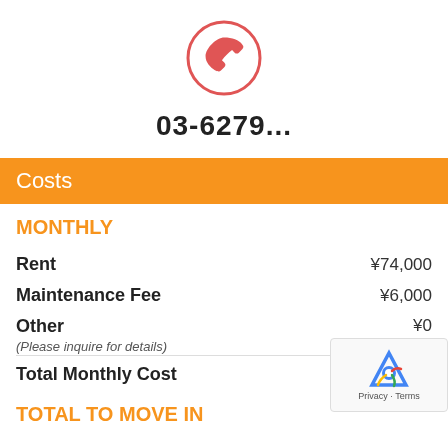[Figure (illustration): Red phone handset icon inside a red circle, centered on page]
03-6279...
Costs
MONTHLY
| Item | Amount |
| --- | --- |
| Rent | ¥74,000 |
| Maintenance Fee | ¥6,000 |
| Other
(Please inquire for details) | ¥0 |
| Total Monthly Cost | ¥ |
TOTAL TO MOVE IN